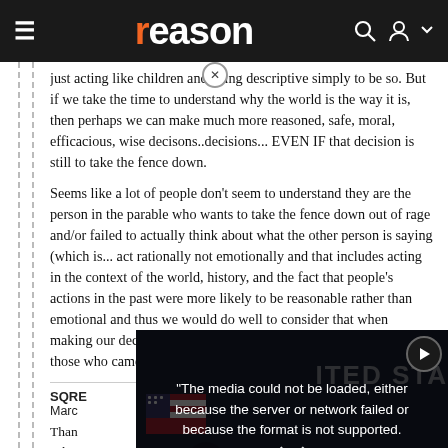reason
just acting like children and being descriptive simply to be so. But if we take the time to understand why the world is the way it is, then perhaps we can make much more reasoned, safe, moral, efficacious, wise decisons..decisions... EVEN IF that decision is still to take the fence down.
Seems like a lot of people don't seem to understand they are the person in the parable who wants to take the fence down out of rage and/or failed to actually think about what the other person is saying (which is... act rationally not emotionally and that includes acting in the context of the world, history, and the fact that people's actions in the past were more likely to be reasonable rather than emotional and thus we would do well to consider that when making our decisions...constrained by those directly affected by those who came be[fore]
SQRE
March [date]
Than[k]... ackn[owledge]... thing[s]... emot[ionally]...
[Figure (screenshot): Video player overlay showing error message: 'The media could not be loaded, either because the server or network failed or because the format is not supported.' with a large X close button and subtitle text 'is the threat of wrongful detention that Americans should not travel to Russia.' overlaid on a dark video frame showing a person at a podium with US flags and 'ITED STA' text visible.]